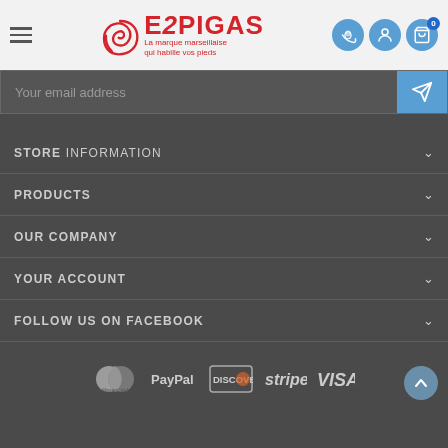[Figure (logo): E2PIGAS brand logo with red spiral icon and tagline 'La marque marseillaise qui habille vos pieds']
Your email address
STORE INFORMATION
PRODUCTS
OUR COMPANY
YOUR ACCOUNT
FOLLOW US ON FACEBOOK
[Figure (logo): Payment logos: MasterCard, PayPal, Discover, stripe, VISA]